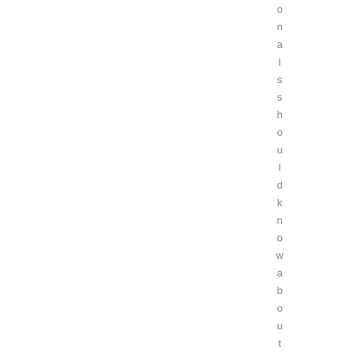onal ss hould know about peril ss